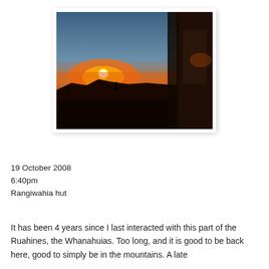[Figure (photo): Sunset photograph taken from inside a building or hut, with a dark silhouetted frame/window structure in the foreground. The sun is setting over a dark mountainous or hilly horizon, casting an orange and red glow across the sky.]
19 October 2008
6:40pm
Rangiwahia hut
It has been 4 years since I last interacted with this part of the Ruahines, the Whanahuias. Too long, and it is good to be back here, good to simply be in the mountains. A late